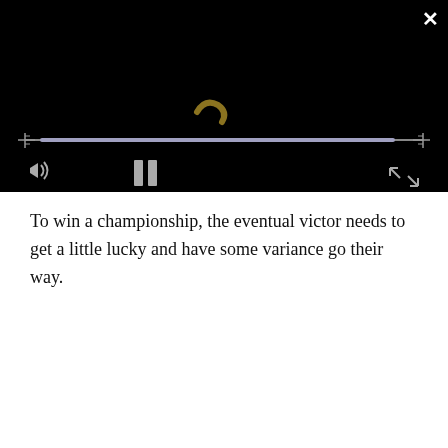[Figure (screenshot): A video player with a black background showing a dark scene with a small curved golden/olive colored shape (resembling a worm or snake) visible in the center. The player has a progress bar stretched nearly full across the bottom area, volume icon on the lower left, pause button in the center bottom, and fullscreen/expand icon on the lower right. There is an X close button in the top right corner.]
To win a championship, the eventual victor needs to get a little lucky and have some variance go their way.